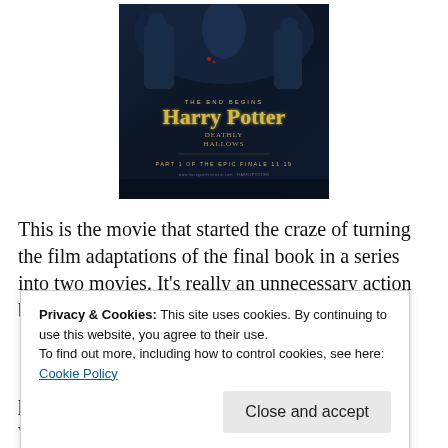[Figure (photo): Harry Potter and the Deathly Hallows Part 1 movie poster. Dark blue/navy background with figures running. Text reads 'THE END BEGINS', 'Harry Potter Deathly Hallows', 'PART 1 OF THE EPIC FINALE 11.19']
This is the movie that started the craze of turning the film adaptations of the final book in a series into two movies. It's really an unnecessary action because there often isn't
Privacy & Cookies: This site uses cookies. By continuing to use this website, you agree to their use.
To find out more, including how to control cookies, see here: Cookie Policy
prefer these teases to future movies be elements woven